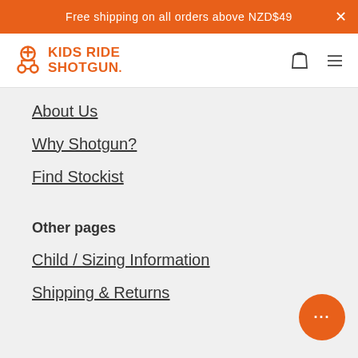Free shipping on all orders above NZD$49
[Figure (logo): Kids Ride Shotgun logo with icon and navigation icons (cart and hamburger menu)]
About Us
Why Shotgun?
Find Stockist
Other pages
Child / Sizing Information
Shipping & Returns